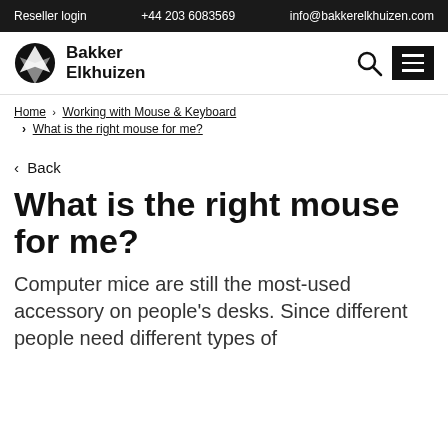Reseller login   +44 203 6083569   info@bakkerelkhuizen.com
[Figure (logo): Bakker Elkhuizen logo with circular icon and company name]
Home › Working with Mouse & Keyboard
› What is the right mouse for me?
‹ Back
What is the right mouse for me?
Computer mice are still the most-used accessory on people's desks. Since different people need different types of